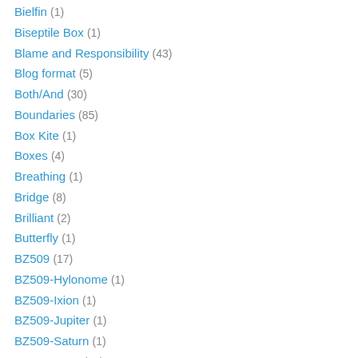Bielfin (1)
Biseptile Box (1)
Blame and Responsibility (43)
Blog format (5)
Both/And (30)
Boundaries (85)
Box Kite (1)
Boxes (4)
Breathing (1)
Bridge (8)
Brilliant (2)
Butterfly (1)
BZ509 (17)
BZ509-Hylonome (1)
BZ509-Ixion (1)
BZ509-Jupiter (1)
BZ509-Saturn (1)
Can-Opener (14)
Cancel-Neutralize-Upgrade (1)
Cancer (9)